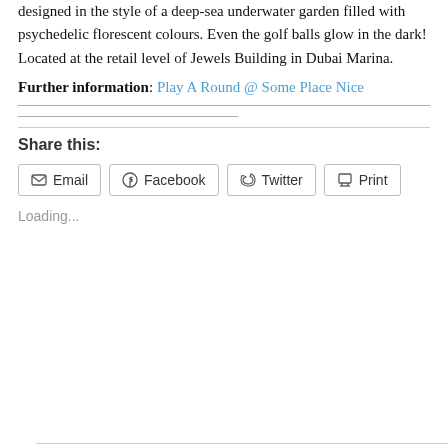designed in the style of a deep-sea underwater garden filled with psychedelic florescent colours. Even the golf balls glow in the dark! Located at the retail level of Jewels Building in Dubai Marina.
Further information: Play A Round @ Some Place Nice
Share this:
Loading...